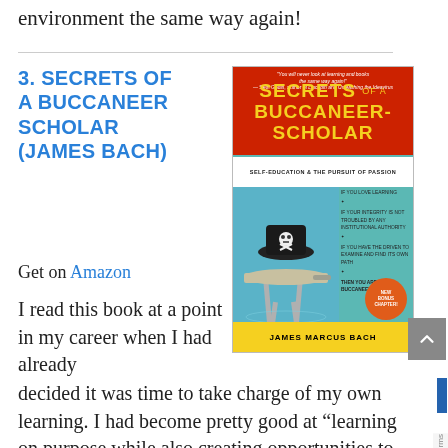environment the same way again!
3. SECRETS OF A BUCCANEER SCHOLAR (JAMES BACH)
[Figure (photo): Book cover of 'Secrets of a Buccaneer-Scholar: Self-Education & The Pursuit of Passion' by James Marcus Bach. Cover shows a school desk submerged in water with a pirate hat on top. Top portion is red with yellow title text, bottom has yellow author bar.]
Get on Amazon
I read this book at a point in my career when I had already decided it was time to take charge of my own learning. I had become pretty good at “learning on purpose while also creating opportunities to learn by accident”. James’s writing helped me